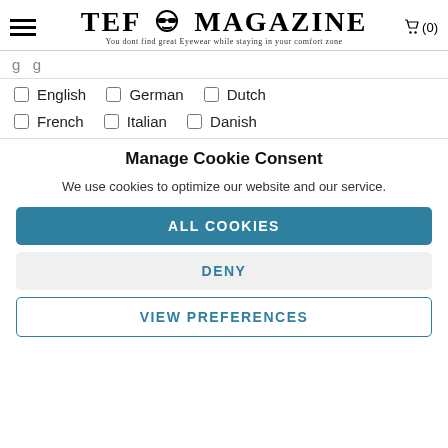TEF MAGAZINE — You dont find great Eyewear while staying in your comfort zone
g g (partial, cropped)
English  German  Dutch
French  Italian  Danish
Manage Cookie Consent
We use cookies to optimize our website and our service.
ALL COOKIES
DENY
VIEW PREFERENCES